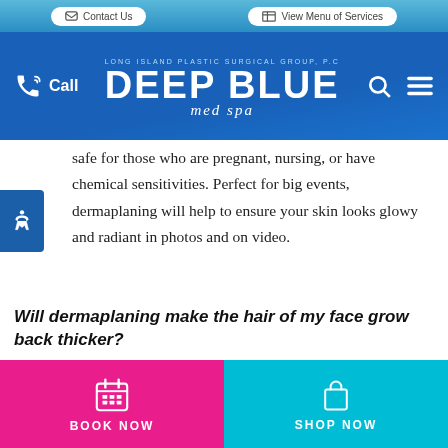Contact Us | View Menu of Services
[Figure (logo): Deep Blue Med Spa logo with Long Island Plastic Surgical Group, PC text, call button, search and menu icons on blue header]
safe for those who are pregnant, nursing, or have chemical sensitivities. Perfect for big events, dermaplaning will help to ensure your skin looks glowy and radiant in photos and on video.
Will dermaplaning make the hair of my face grow back thicker?
This is by far my most received question, and the
BOOK NOW | SHOP NOW